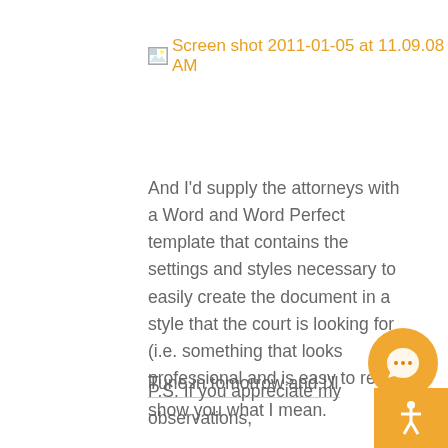[Figure (screenshot): Broken image icon followed by orange link text reading 'Screen shot 2011-01-05 at 11.09.08 AM']
And I'd supply the attorneys with a Word and Word Perfect template that contains the settings and styles necessary to easily create the document in a style that the court is looking for (i.e. something that looks professional and is easy to read).
Tune in tomorrow and I'll show you what I mean.
P.S. If you appreciate my observations,